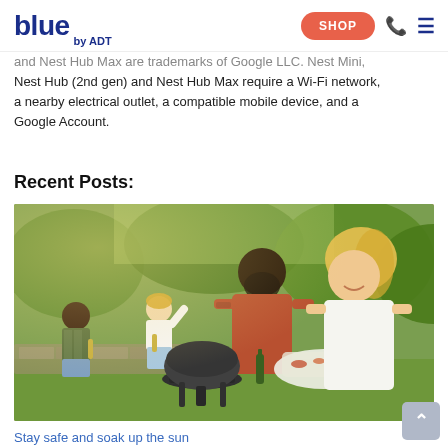blue by ADT — SHOP
and Nest Hub Max are trademarks of Google LLC. Nest Mini, Nest Hub (2nd gen) and Nest Hub Max require a Wi-Fi network, a nearby electrical outlet, a compatible mobile device, and a Google Account.
Recent Posts:
[Figure (photo): Group of friends at an outdoor BBQ/cookout in a park setting. A bearded man in a rust-colored shirt and a blonde woman in white are at the grill. In the background, a woman in a white top and a man in a striped shirt are socializing near a stone wall. Lush green trees in the background.]
Stay safe and soak up the sun